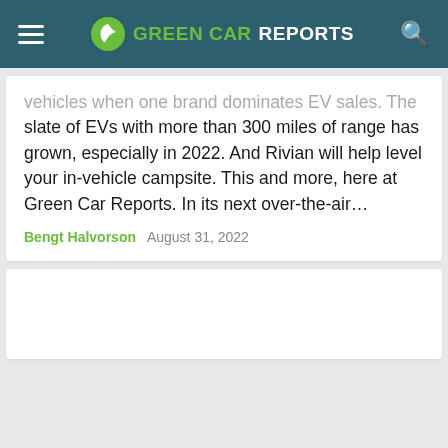GREEN CAR REPORTS
vehicles when one brand dominates EV sales. The slate of EVs with more than 300 miles of range has grown, especially in 2022. And Rivian will help level your in-vehicle campsite. This and more, here at Green Car Reports. In its next over-the-air…
Bengt Halvorson   August 31, 2022